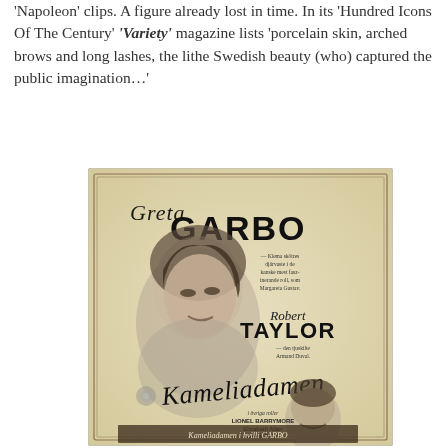'Napoleon' clips. A figure already lost in time. In its 'Hundred Icons Of The Century' 'Variety' magazine lists 'porcelain skin, arched brows and long lashes, the lithe Swedish beauty (who) captured the public imagination…'
[Figure (photo): Vintage movie poster for 'Kameliadamen' (Camille) featuring Greta Garbo and Robert Taylor. Shows Garbo's portrait prominently, with Swedish text, cursive title lettering, and another actor at the bottom. Also lists Lionel Barrymore, Elizabeth Allan, Jessie Ralph.]